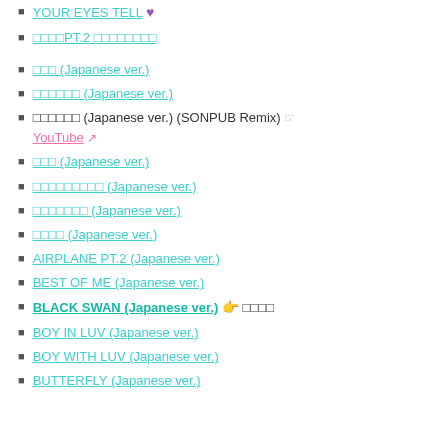YOUR EYES TELL 💜
□□□□PT.2 □□□□□□□□
□□□ (Japanese ver.)
□□□□□□ (Japanese ver.)
□□□□□□ (Japanese ver.) (SONPUB Remix) ☞ YouTube 🔗
□□□ (Japanese ver.)
□□□□□□□□□ (Japanese ver.)
□□□□□□□ (Japanese ver.)
□□□□ (Japanese ver.)
AIRPLANE PT.2 (Japanese ver.)
BEST OF ME (Japanese ver.)
BLACK SWAN (Japanese ver.) 👉 □□□□
BOY IN LUV (Japanese ver.)
BOY WITH LUV (Japanese ver.)
BUTTERFLY (Japanese ver.)